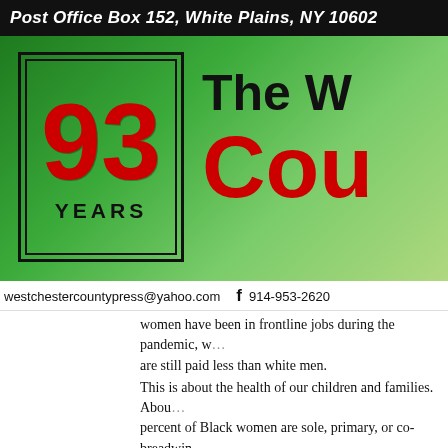Post Office Box 152, White Plains, NY 10602
[Figure (logo): Westchester County Press newspaper masthead. Left: a bordered box showing '93 YEARS' in large red numerals on green background. Right: partial newspaper name 'The W...' and 'Cou...' in bold black and red on green gradient background.]
westchestercountypress@yahoo.com   f   914-953-2620
women have been in frontline jobs during the pandemic, w... are still paid less than white men.
This is about the health of our children and families. Abou... percent of Black women are sole, primary, or co-breadwin... their households. Bringing home a few thousand more do... year could be transformative for low-income families.
When he was campaigning, President Joe Biden told vote... supported a $15 minimum wage. House Democrats includ... their most recent COVID relief bill. But because of an inte...